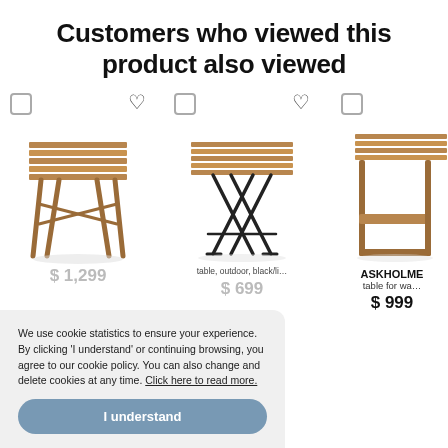Customers who viewed this product also viewed
[Figure (photo): First product: wooden folding table, outdoor, acacia wood, price $1,299]
[Figure (photo): Second product: folding table, outdoor, black/light brown, price $699]
[Figure (photo): Third product: ASKHOLME table for wall, acacia wood, price $999]
We use cookie statistics to ensure your experience. By clicking 'I understand' or continuing browsing, you agree to our cookie policy. You can also change and delete cookies at any time. Click here to read more.
I understand